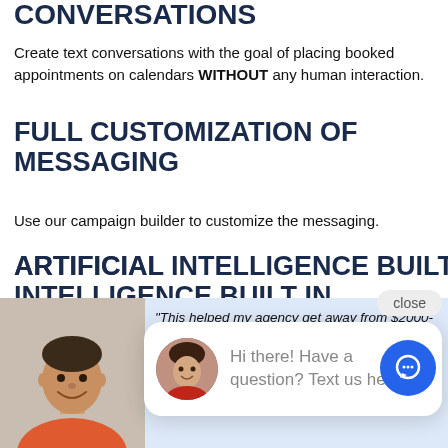CONVERSATIONS
Create text conversations with the goal of placing booked appointments on calendars WITHOUT any human interaction.
FULL CUSTOMIZATION OF MESSAGING
Use our campaign builder to customize the messaging.
ARTIFICIAL INTELLIGENCE BUILT IN
HighLevel allows yo... Machine Learning t...
[Figure (screenshot): Chat widget popup with avatar photo of a woman, text 'Hi there! Have a question? Text us here.' and a close button, plus a blue circular chat button in the bottom right]
[Figure (photo): Smiling man in orange shirt, testimonial area with light blue background]
"This helped my agency get away from $2000-3000 in expenses, I also have a lot of agencies that trained that don't have the need for those features. When I...